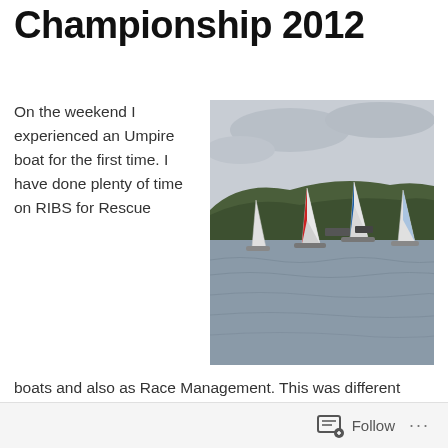Championship 2012
On the weekend I experienced an Umpire boat for the first time. I have done plenty of time on RIBS for Rescue boats and also as Race Management. This was different altogether and a great experience. On Saturday it was a wonderful surprise to see Adventures of a Sailor Girl (Nic
[Figure (photo): Sailboats racing on open water with hills and trees visible in the background under an overcast sky.]
Follow ...